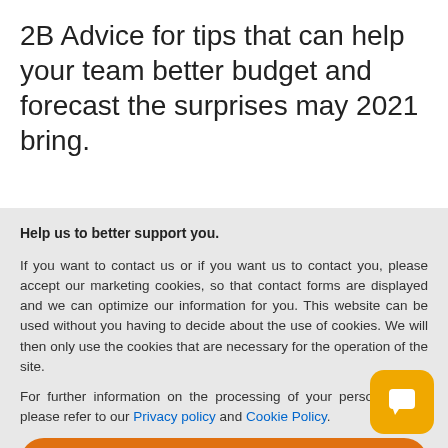2B Advice for tips that can help your team better budget and forecast the surprises may 2021 bring.
Help us to better support you.
If you want to contact us or if you want us to contact you, please accept our marketing cookies, so that contact forms are displayed and we can optimize our information for you. This website can be used without you having to decide about the use of cookies. We will then only use the cookies that are necessary for the operation of the site.
For further information on the processing of your personal data, please refer to our Privacy policy and Cookie Policy.
ACCEPT ALL
SETTINGS